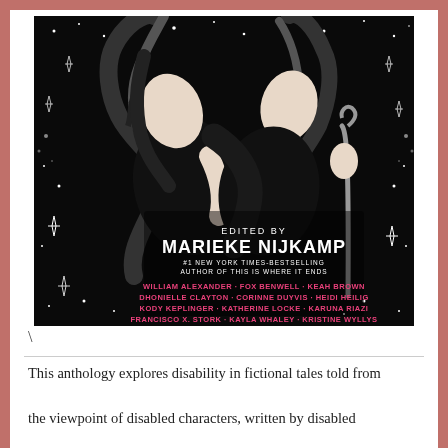[Figure (illustration): Book cover with black and white illustration of two figures back-to-back against a starry night background. One figure has long braided hair and the other holds a cane. Text on cover reads: EDITED BY MARIEKE NIJKAMP, #1 NEW YORK TIMES-BESTSELLING AUTHOR OF THIS IS WHERE IT ENDS. Contributors listed in pink: WILLIAM ALEXANDER · FOX BENWELL · KEAH BROWN, DHONIELLE CLAYTON · CORINNE DUYVIS · HEIDI HEILIG, KODY KEPLINGER · KATHERINE LOCKE · KARUNA RIAZI, FRANCISCO X. STORK · KAYLA WHALEY · KRISTINE WYLLYS]
This anthology explores disability in fictional tales told from the viewpoint of disabled characters, written by disabled